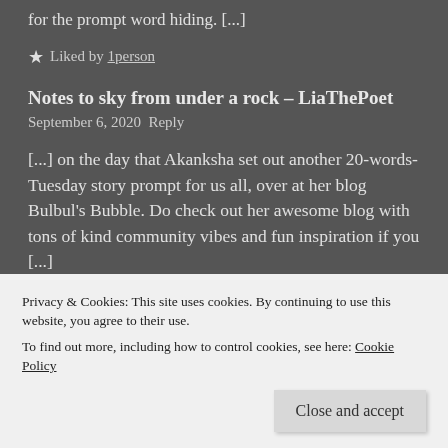for the prompt word hiding. [...]
★ Liked by 1person
Notes to sky from under a rock – LiaThePoet
September 6, 2020  Reply
[...] on the day that Akanksha set out another 20-words-Tuesday story prompt for us all, over at her blog Bulbul's Bubble. Do check out her awesome blog with tons of kind community vibes and fun inspiration if you [...]
Privacy & Cookies: This site uses cookies. By continuing to use this website, you agree to their use.
To find out more, including how to control cookies, see here: Cookie Policy